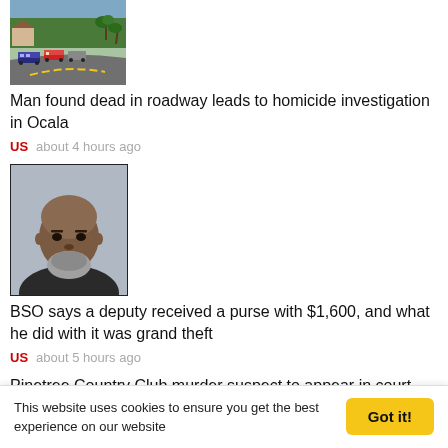[Figure (photo): Road with police vehicles and trees in background]
Man found dead in roadway leads to homicide investigation in Ocala
US   about 4 hours ago
[Figure (photo): Mugshot of an older Black man with gray beard]
BSO says a deputy received a purse with $1,600, and what he did with it was grand theft
US   about 5 hours ago
Pinetree Country Club murder suspect to appear in court next
This website uses cookies to ensure you get the best experience on our website
Got it!